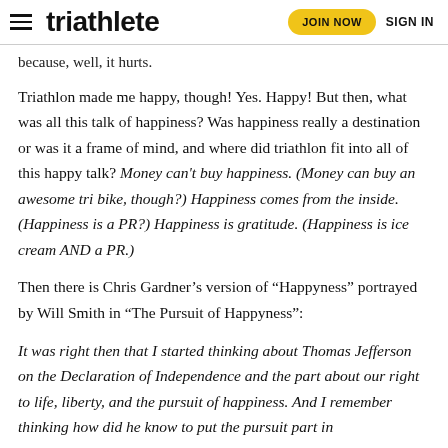triathlete | JOIN NOW | SIGN IN
because, well, it hurts.
Triathlon made me happy, though! Yes. Happy! But then, what was all this talk of happiness? Was happiness really a destination or was it a frame of mind, and where did triathlon fit into all of this happy talk? Money can't buy happiness. (Money can buy an awesome tri bike, though?) Happiness comes from the inside. (Happiness is a PR?) Happiness is gratitude. (Happiness is ice cream AND a PR.)
Then there is Chris Gardner’s version of “Happyness” portrayed by Will Smith in “The Pursuit of Happyness”:
It was right then that I started thinking about Thomas Jefferson on the Declaration of Independence and the part about our right to life, liberty, and the pursuit of happiness. And I remember thinking how did he know to put the pursuit part in